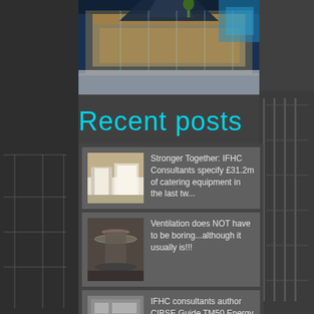[Figure (photo): Top photo showing a modern glass-fronted restaurant or cafe building with interior lighting visible, city street scene]
Recent posts
Stronger Together: IFHC Consultants specify £31.2m of catering equipment in the last tw...
Ventilation does NOT have to be boring...although it usually is!!!
IFHC consultants author CIBSE Guide TM50 Energy Efficiency in